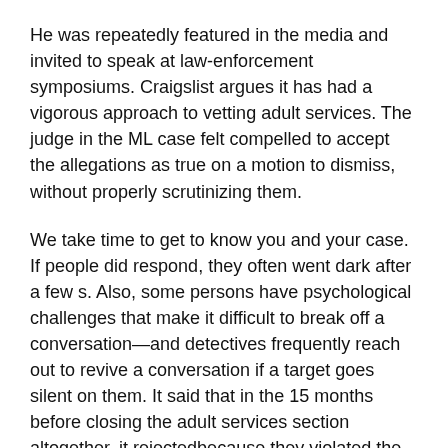He was repeatedly featured in the media and invited to speak at law-enforcement symposiums. Craigslist argues it has had a vigorous approach to vetting adult services. The judge in the ML case felt compelled to accept the allegations as true on a motion to dismiss, without properly scrutinizing them.
We take time to get to know you and your case. If people did respond, they often went dark after a few s. Also, some persons have psychological challenges that make it difficult to break off a conversation—and detectives frequently reach out to revive a conversation if a target goes silent on them. It said that in the 15 months before closing the adult services section altogether, it rejectedbecause they violated the web site's rules, including advertising prostitution and being "indicative of an underage person. Jackie Speier, D-California. Is she 22 or 12?
Rodriguez, a year veteran of the Washington State Patrol